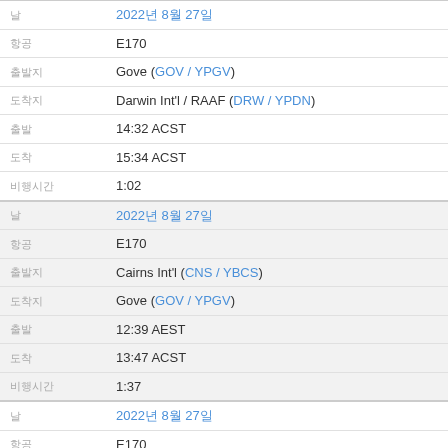| Field | Value |
| --- | --- |
| 날짜 | 2022년 8월 27일 |
| 항공기 | E170 |
| 출발지 | Gove (GOV / YPGV) |
| 도착지 | Darwin Int'l / RAAF (DRW / YPDN) |
| 출발 | 14:32 ACST |
| 도착 | 15:34 ACST |
| 비행시간 | 1:02 |
| 날짜 | 2022년 8월 27일 |
| 항공기 | E170 |
| 출발지 | Cairns Int'l (CNS / YBCS) |
| 도착지 | Gove (GOV / YPGV) |
| 출발 | 12:39 AEST |
| 도착 | 13:47 ACST |
| 비행시간 | 1:37 |
| 날짜 | 2022년 8월 27일 |
| 항공기 | E170 |
| 출발지 | Gove (GOV / YPGV) |
| 도착지 | Cairns Int'l (CNS / YBCS) |
| 출발 | 09:15 ACST |
| 도착 | 11:11 AEST |